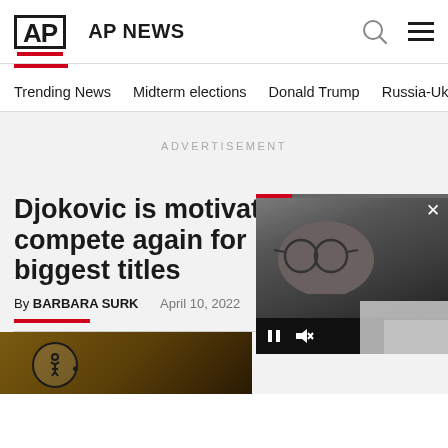AP NEWS
Trending News  Midterm elections  Donald Trump  Russia-Ukr
ADVERTISEMENT
Djokovic is motivated to compete again for biggest titles
By BARBARA SURK    April 10, 2022
[Figure (screenshot): AP News website screenshot showing article header with video overlay of a man with glasses]
[Figure (photo): Partial photo at bottom of page, person visible from above]